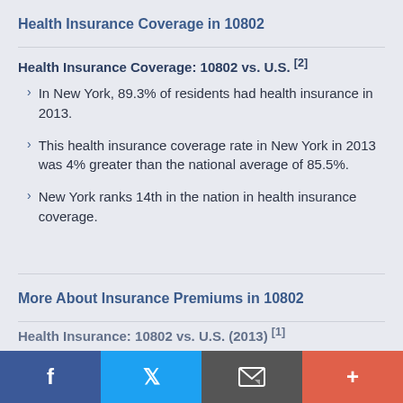Health Insurance Coverage in 10802
Health Insurance Coverage: 10802 vs. U.S. [2]
In New York, 89.3% of residents had health insurance in 2013.
This health insurance coverage rate in New York in 2013 was 4% greater than the national average of 85.5%.
New York ranks 14th in the nation in health insurance coverage.
More About Insurance Premiums in 10802
Health Insurance: 10802 vs. U.S. (2013) [1]